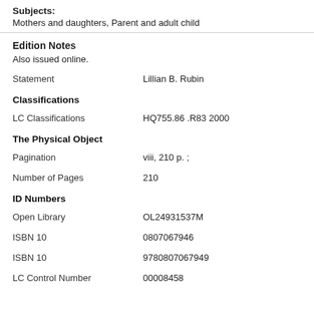Subjects: Mothers and daughters, Parent and adult child
Edition Notes
Also issued online.
| Statement | Lillian B. Rubin |
| Classifications |  |
| LC Classifications | HQ755.86 .R83 2000 |
| The Physical Object |  |
| Pagination | viii, 210 p. ; |
| Number of Pages | 210 |
| ID Numbers |  |
| Open Library | OL24931537M |
| ISBN 10 | 0807067946 |
| ISBN 10 | 9780807067949 |
| LC Control Number | 00008458 |